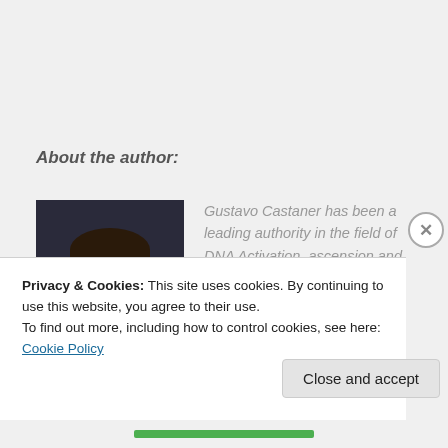About the author:
[Figure (photo): Headshot photo of Gustavo Castaner, a man with short dark hair, smiling slightly, wearing a dark shirt.]
Gustavo Castaner has been a leading authority in the field of DNA Activation, ascension and
Privacy & Cookies: This site uses cookies. By continuing to use this website, you agree to their use.
To find out more, including how to control cookies, see here: Cookie Policy
Close and accept